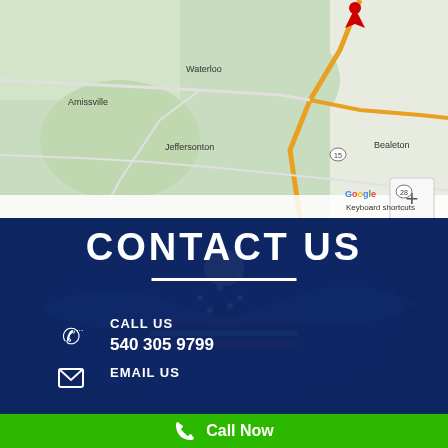[Figure (map): Google Map showing area around Bealeton, VA with locations including Waterloo, Amissville, Jeffersonton, and route 15, 621, 28, 640, 625 visible. A red map pin is visible near the top. Map controls include zoom + and - buttons. Bottom shows Google logo, Keyboard shortcuts, Map data ©2022 Google, Terms of Use.]
CONTACT US
CALL US
540 305 9799
EMAIL US
Call Now